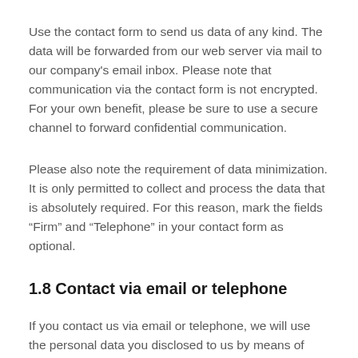Use the contact form to send us data of any kind. The data will be forwarded from our web server via mail to our company's email inbox. Please note that communication via the contact form is not encrypted. For your own benefit, please be sure to use a secure channel to forward confidential communication.
Please also note the requirement of data minimization. It is only permitted to collect and process the data that is absolutely required. For this reason, mark the fields “Firm” and “Telephone” in your contact form as optional.
1.8 Contact via email or telephone
If you contact us via email or telephone, we will use the personal data you disclosed to us by means of making this